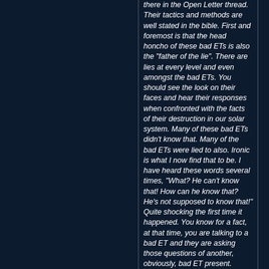there in the Open Letter thread. Their tactics and methods are well stated in the bible. First and foremost is that the head honcho of these bad ETs is also the "father of the lie". There are lies at every level and even amongst the bad ETs. You should see the look on their faces and hear their responses when confronted with the facts of their destruction in our solar system. Many of these bad ETs didn't know that. Many of the bad ETs were lied to also. Ironic is what I now find that to be. I have heard these words several times, "What? He can't know that! How can he know that? He's not supposed to know that!" Quite shocking the first time it happened. You know for a fact, at that time, you are talking to a bad ET and they are asking those questions of another, obviously, bad ET present.
Now, is the time to either accept what the bible really is or not